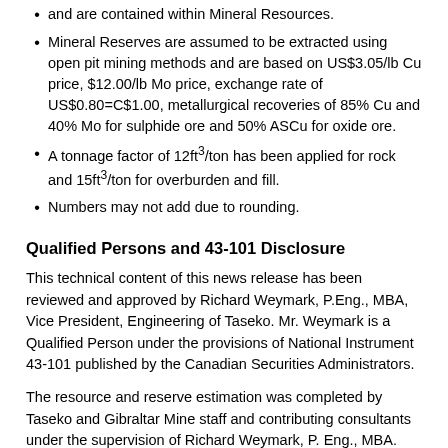and are contained within Mineral Resources.
Mineral Reserves are assumed to be extracted using open pit mining methods and are based on US$3.05/lb Cu price, $12.00/lb Mo price, exchange rate of US$0.80=C$1.00, metallurgical recoveries of 85% Cu and 40% Mo for sulphide ore and 50% ASCu for oxide ore.
A tonnage factor of 12ft³/ton has been applied for rock and 15ft³/ton for overburden and fill.
Numbers may not add due to rounding.
Qualified Persons and 43-101 Disclosure
This technical content of this news release has been reviewed and approved by Richard Weymark, P.Eng., MBA, Vice President, Engineering of Taseko. Mr. Weymark is a Qualified Person under the provisions of National Instrument 43-101 published by the Canadian Securities Administrators.
The resource and reserve estimation was completed by Taseko and Gibraltar Mine staff and contributing consultants under the supervision of Richard Weymark, P. Eng., MBA. Vice President, Engineering of Taseko and a Qualified Person under National